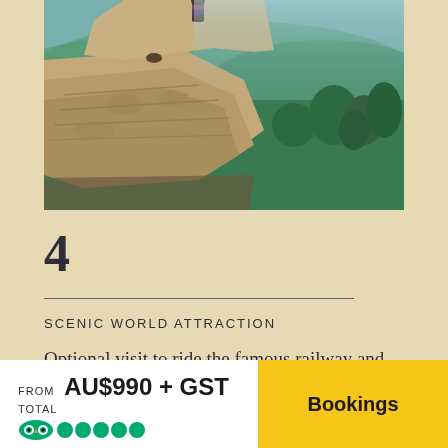[Figure (photo): Rocky cliff ledge with layered sandstone rock formations in the foreground, lush green forested valley and mountains visible in the background. A person partially visible at top of cliff.]
4
SCENIC WORLD ATTRACTION
Optional visit to ride the famous railway and
FROM AU$990 + GST
TOTAL
Bookings